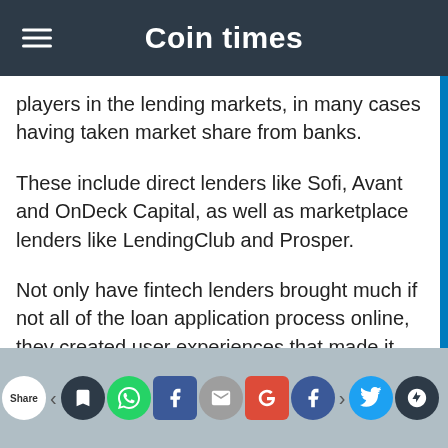Coin times
players in the lending markets, in many cases having taken market share from banks.
These include direct lenders like Sofi, Avant and OnDeck Capital, as well as marketplace lenders like LendingClub and Prosper.
Not only have fintech lenders brought much if not all of the loan application process online, they created user experiences that made it easy for consumers and business owners to complete that loan application process quickly and without hassle.
Share